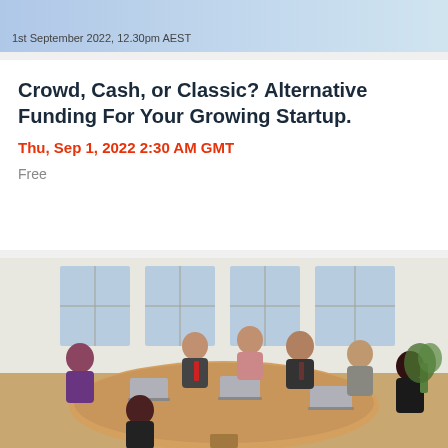1st September 2022, 12.30pm AEST
Crowd, Cash, or Classic? Alternative Funding For Your Growing Startup.
Thu, Sep 1, 2022 2:30 AM GMT
Free
[Figure (photo): Business professionals seated around an oval conference table with laptops, engaged in a meeting in a modern office with large windows.]